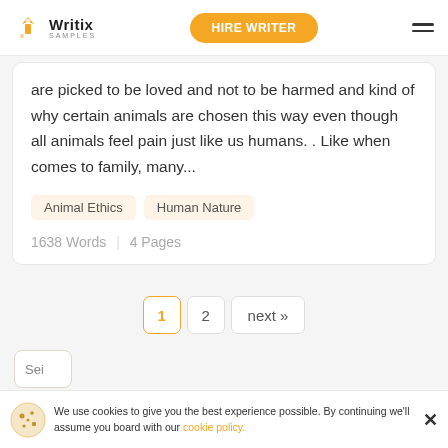Writix SAMPLES | HIRE WRITER
are picked to be loved and not to be harmed and kind of why certain animals are chosen this way even though all animals feel pain just like us humans. . Like when comes to family, many...
Animal Ethics
Human Nature
1638 Words | 4 Pages
1  2  next »
Sei
We use cookies to give you the best experience possible. By continuing we'll assume you board with our cookie policy.